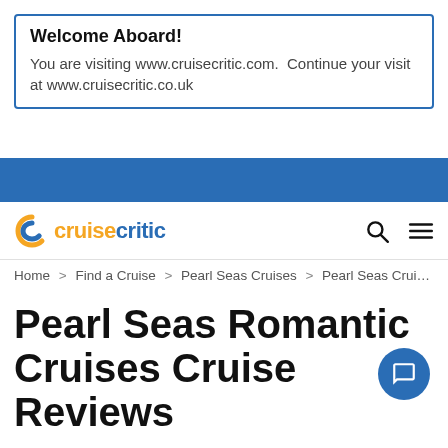Welcome Aboard!
You are visiting www.cruisecritic.com.  Continue your visit at www.cruisecritic.co.uk
[Figure (logo): Cruise Critic logo with orange C icon and blue/orange wordmark, plus search and hamburger menu icons]
Home > Find a Cruise > Pearl Seas Cruises > Pearl Seas Cruise Revie…
Pearl Seas Romantic Cruises Cruise Reviews